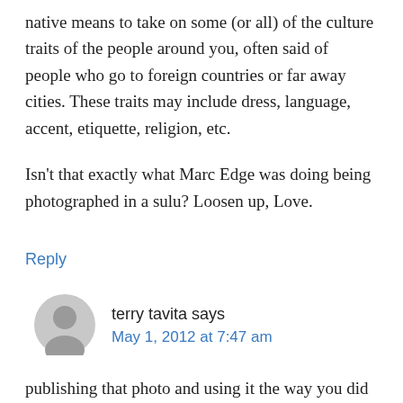native means to take on some (or all) of the culture traits of the people around you, often said of people who go to foreign countries or far away cities. These traits may include dress, language, accent, etiquette, religion, etc.
Isn't that exactly what Marc Edge was doing being photographed in a sulu? Loosen up, Love.
Reply
terry tavita says
May 1, 2012 at 7:47 am
publishing that photo and using it the way you did